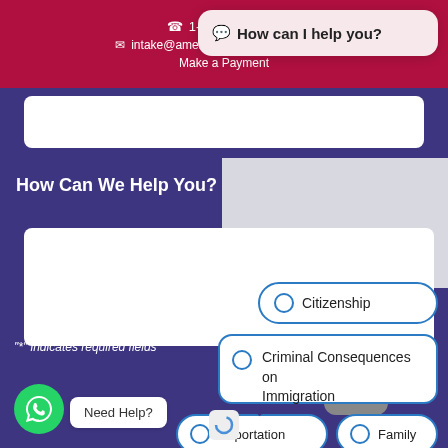1-888-963-7326 | intake@americanfamilylawcenter.com | Make a Payment
[Figure (screenshot): Chatbot popup with text 'How can I help you?']
How Can We Help You?
[Figure (screenshot): Video play button on gray background]
"*" indicates required fields
Citizenship
Criminal Consequences on Immigration
Deportation
Family
[Figure (screenshot): WhatsApp chat button with Need Help? bubble]